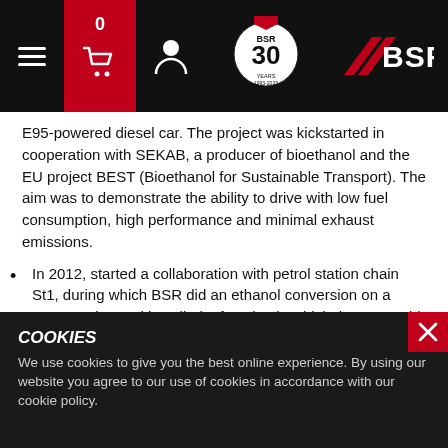[Figure (screenshot): BSR website navigation bar with hamburger menu, shopping cart with 0 items (red background), user icon, BSR 30 years anniversary logo in center, and BSR logo on the right, all on black background.]
E95-powered diesel car. The project was kickstarted in cooperation with SEKAB, a producer of bioethanol and the EU project BEST (Bioethanol for Sustainable Transport). The aim was to demonstrate the ability to drive with low fuel consumption, high performance and minimal exhaust emissions.
In 2012, started a collaboration with petrol station chain St1, during which BSR did an ethanol conversion on a Toyota Prius and installed a function in which the car could be recharged whilst parked. The goal with this cooperation was to demonstrate the added benefits ethanol conversion could bring to an already environmentally friendly car.
COOKIES
We use cookies to give you the best online experience. By using our website you agree to our use of cookies in accordance with our cookie policy.